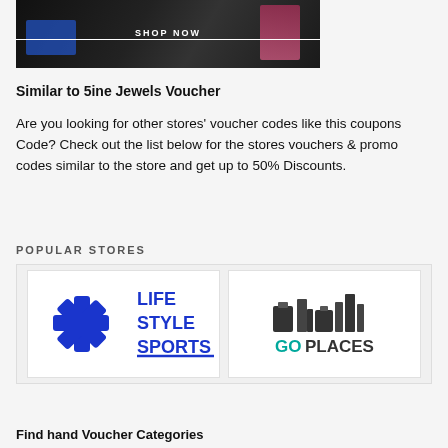[Figure (photo): Dark background image with blue and pink accent clothing, showing a 'SHOP NOW' text with underline overlay]
Similar to 5ine Jewels Voucher
Are you looking for other stores' voucher codes like this coupons Code? Check out the list below for the stores vouchers & promo codes similar to the store and get up to 50% Discounts.
POPULAR STORES
[Figure (logo): Lifestyle Sports logo with blue star/asterisk graphic and bold blue text reading LIFE STYLE SPORTS]
[Figure (logo): GoPlaces logo with luggage/city skyline icons in dark and teal text reading GOPLACES]
Find hand Voucher Categories